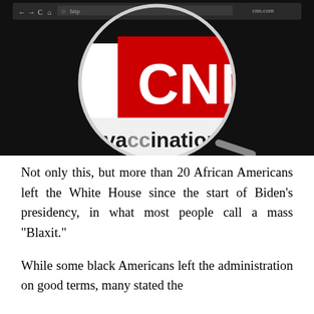[Figure (screenshot): Screenshot of a web browser showing the CNN website with the CNN logo (white letters on orange background) viewed through a magnifying glass, and partial text 'vaccination tracker' visible on the page.]
Not only this, but more than 20 African Americans left the White House since the start of Biden’s presidency, in what most people call a mass “Blaxit.”
While some black Americans left the administration on good terms, many stated the